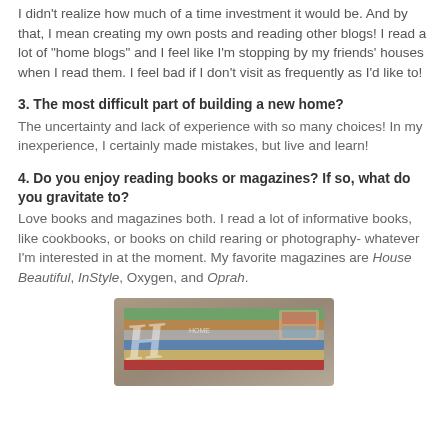I didn't realize how much of a time investment it would be. And by that, I mean creating my own posts and reading other blogs! I read a lot of "home blogs" and I feel like I'm stopping by my friends' houses when I read them. I feel bad if I don't visit as frequently as I'd like to!
3. The most difficult part of building a new home?
The uncertainty and lack of experience with so many choices! In my inexperience, I certainly made mistakes, but live and learn!
4. Do you enjoy reading books or magazines? If so, what do you gravitate to?
Love books and magazines both. I read a lot of informative books, like cookbooks, or books on child rearing or photography- whatever I'm interested in at the moment. My favorite magazines are House Beautiful, InStyle, Oxygen, and Oprah.
[Figure (photo): A stack of magazines photographed from above at an angle, showing colorful covers fanned out.]